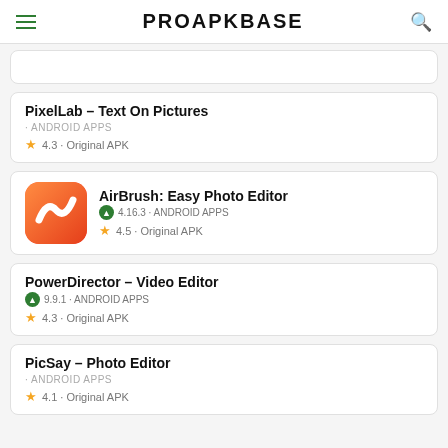PROAPKBASE
PixelLab – Text On Pictures · ANDROID APPS ★ 4.3 · Original APK
AirBrush: Easy Photo Editor 4.16.3 · ANDROID APPS ★ 4.5 · Original APK
PowerDirector – Video Editor 9.9.1 · ANDROID APPS ★ 4.3 · Original APK
PicSay – Photo Editor · ANDROID APPS ★ 4.1 · Original APK